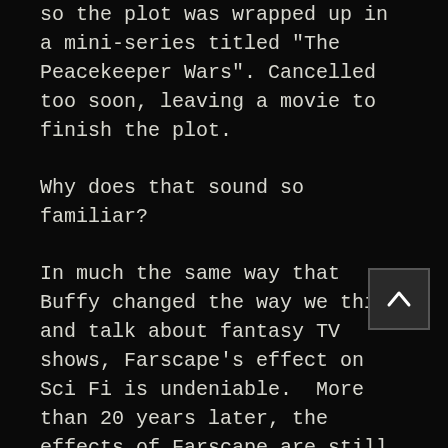so the plot was wrapped up in a mini-series titled "The Peacekeeper Wars". Cancelled too soon, leaving a movie to finish the plot.
Why does that sound so familiar?
In much the same way that Buffy changed the way we think and talk about fantasy TV shows, Farscape's effect on Sci Fi is undeniable.  More than 20 years later, the effects of Farscape are still being seen.  Most recently in the global smash hit "Guardians of the Galaxy", which director James Gunn says was hugely influenced by Farscape.
So, we have to ask ourselves:  Why is Farscape such an enduring series, and if